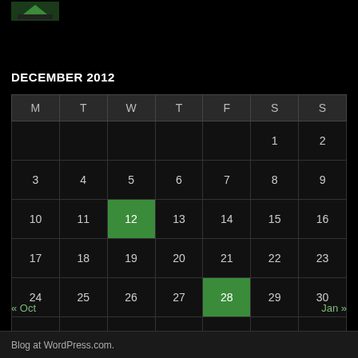[Figure (logo): Small green logo/icon in top-left corner]
DECEMBER 2012
| M | T | W | T | F | S | S |
| --- | --- | --- | --- | --- | --- | --- |
|  |  |  |  |  | 1 | 2 |
| 3 | 4 | 5 | 6 | 7 | 8 | 9 |
| 10 | 11 | 12* | 13 | 14 | 15 | 16 |
| 17 | 18 | 19 | 20 | 21 | 22 | 23 |
| 24 | 25 | 26 | 27 | 28* | 29 | 30 |
| 31 |  |  |  |  |  |  |
« Oct    Jan »
Blog at WordPress.com.